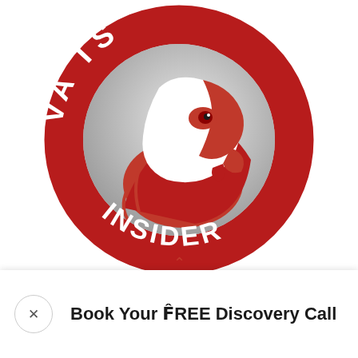[Figure (logo): Vanderbilts Insider circular logo: dark red ring with white bold text 'VA...S' (top arc) and 'INSIDER' (bottom arc), center grey circle with white eagle/hawk head mascot in red and white]
Book Your FREE Discovery Call